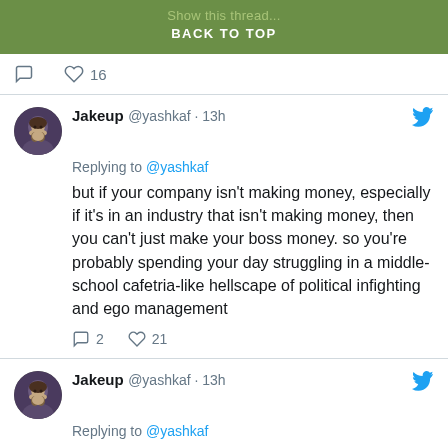Show this thread · BACK TO TOP
♡ 16
Jakeup @yashkaf · 13h
Replying to @yashkaf
but if your company isn't making money, especially if it's in an industry that isn't making money, then you can't just make your boss money. so you're probably spending your day struggling in a middle-school cafetria-like hellscape of political infighting and ego management
💬 2  ♡ 21
Jakeup @yashkaf · 13h
Replying to @yashkaf
people mock 9-5ers for "just making your boss money" but that's the best part about it. if you measurably make your boss money no one cares what else you do or how pleasant